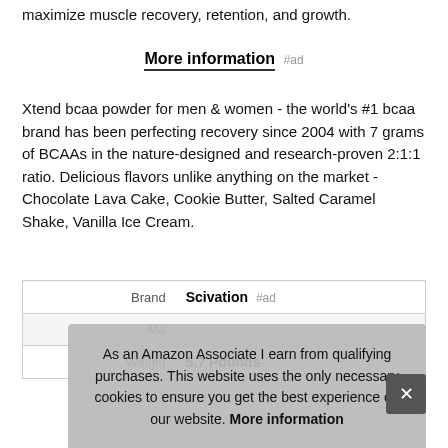maximize muscle recovery, retention, and growth.
More information #ad
Xtend bcaa powder for men & women - the world's #1 bcaa brand has been perfecting recovery since 2004 with 7 grams of BCAAs in the nature-designed and research-proven 2:1:1 ratio. Delicious flavors unlike anything on the market - Chocolate Lava Cake, Cookie Butter, Salted Caramel Shake, Vanilla Ice Cream.
| Brand | Scivation #ad |
| --- | --- |
| Ma |  |
| Weight | 5.7 Pounds |
As an Amazon Associate I earn from qualifying purchases. This website uses the only necessary cookies to ensure you get the best experience on our website. More information